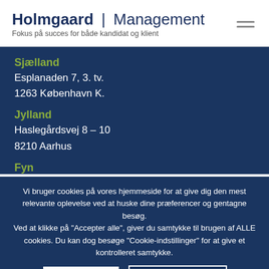Holmgaard | Management
Fokus på succes for både kandidat og klient
Sjælland
Esplanaden 7, 3. tv.
1263 København K.
Jylland
Haslegårdsvej 8 – 10
8210 Aarhus
Fyn
Vi bruger cookies på vores hjemmeside for at give dig den mest relevante oplevelse ved at huske dine præferencer og gentagne besøg.
Ved at klikke på "Accepter alle", giver du samtykke til brugen af ALLE cookies. Du kan dog besøge "Cookie-indstillinger" for at give et kontrolleret samtykke.